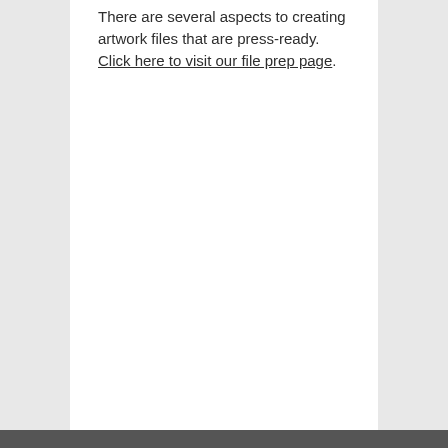There are several aspects to creating artwork files that are press-ready. Click here to visit our file prep page.